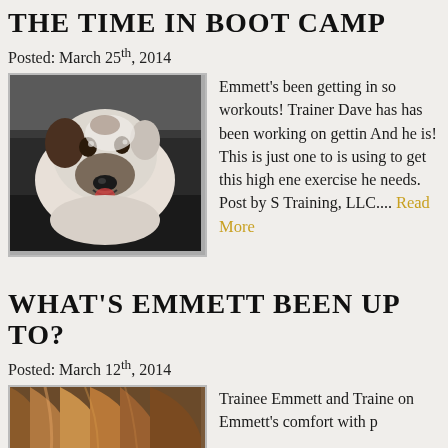THE TIME IN BOOT CAMP
Posted: March 25th, 2014
[Figure (photo): A white and brown dog lying on a treadmill, looking at the camera]
Emmett's been getting in so workouts! Trainer Dave has has been working on gettin And he is! This is just one to is using to get this high ene exercise he needs. Post by S Training, LLC.... Read More
WHAT'S EMMETT BEEN UP TO?
Posted: March 12th, 2014
[Figure (photo): A person with long brown/red hair, partially visible at bottom of page]
Trainee Emmett and Traine on Emmett's comfort with p